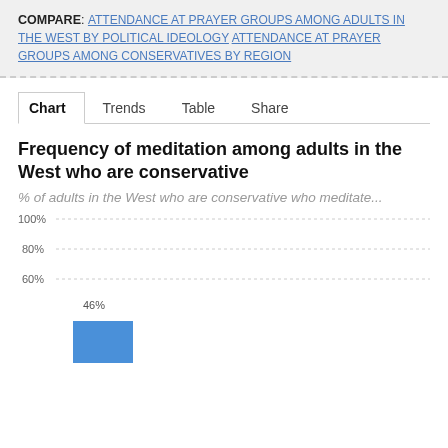COMPARE: ATTENDANCE AT PRAYER GROUPS AMONG ADULTS IN THE WEST BY POLITICAL IDEOLOGY   ATTENDANCE AT PRAYER GROUPS AMONG CONSERVATIVES BY REGION
Chart   Trends   Table   Share
Frequency of meditation among adults in the West who are conservative
% of adults in the West who are conservative who meditate...
[Figure (bar-chart): Frequency of meditation among adults in the West who are conservative]